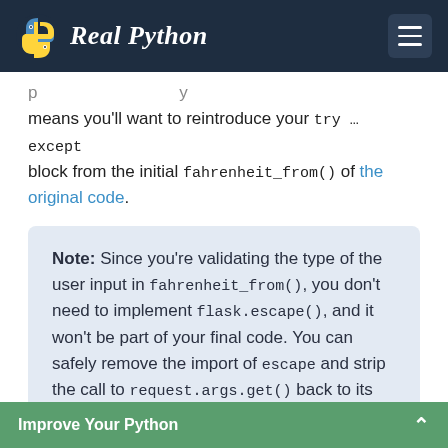Real Python
means you'll want to reintroduce your try … except block from the initial fahrenheit_from() of the original code.
Note: Since you're validating the type of the user input in fahrenheit_from(), you don't need to implement flask.escape(), and it won't be part of your final code. You can safely remove the import of escape and strip the call to request.args.get() back to its initial state.
This time, fahrenheit_from() won't be associated
Improve Your Python